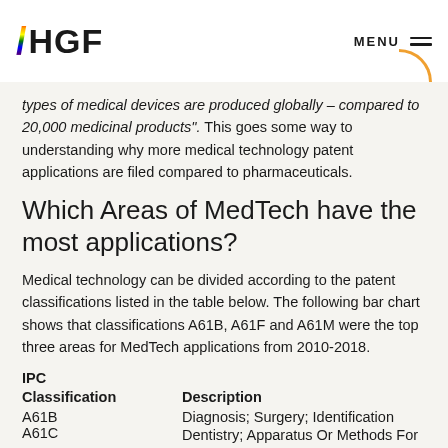HGF | MENU
types of medical devices are produced globally – compared to 20,000 medicinal products". This goes some way to understanding why more medical technology patent applications are filed compared to pharmaceuticals.
Which Areas of MedTech have the most applications?
Medical technology can be divided according to the patent classifications listed in the table below. The following bar chart shows that classifications A61B, A61F and A61M were the top three areas for MedTech applications from 2010-2018.
| IPC Classification | Description |
| --- | --- |
| A61B | Diagnosis; Surgery; Identification |
| A61C | Dentistry; Apparatus Or Methods For Oral Or Dental Hygiene |